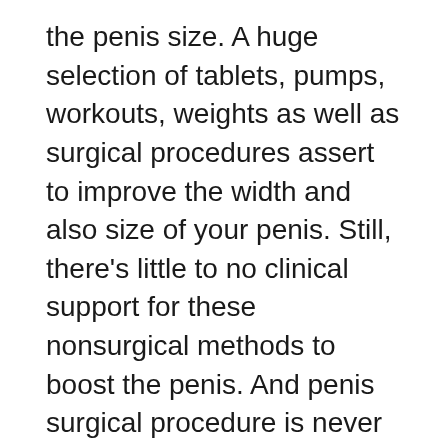the penis size. A huge selection of tablets, pumps, workouts, weights as well as surgical procedures assert to improve the width and also size of your penis. Still, there's little to no clinical support for these nonsurgical methods to boost the penis. And penis surgical procedure is never supported by any reputable medical organization for simply cosmetic reasons. Numerous tablets as well as techniques you see promoted are pointless and in some cases they can even damage your penis.
These penis enlargement methods may even function far better than the penis stretching gadgets that you might be currently utilizing. You may additionally be amazed at just how much larger you can obtain prior to you also